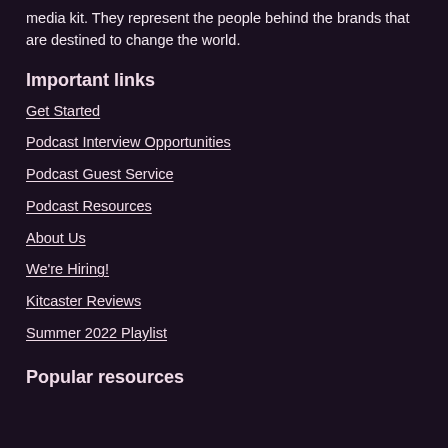media kit. They represent the people behind the brands that are destined to change the world.
Important links
Get Started
Podcast Interview Opportunities
Podcast Guest Service
Podcast Resources
About Us
We're Hiring!
Kitcaster Reviews
Summer 2022 Playlist
Popular resources